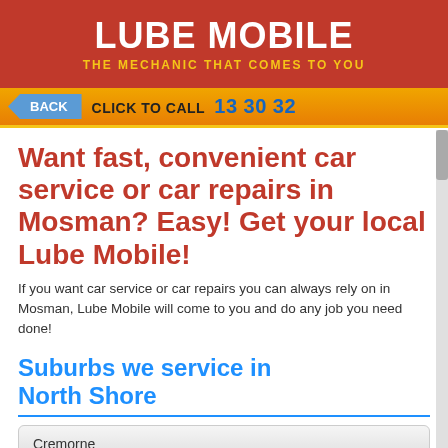LUBE MOBILE
THE MECHANIC THAT COMES TO YOU
BACK  CLICK TO CALL 13 30 32
Want fast, convenient car service or car repairs in Mosman? Easy! Get your local Lube Mobile!
If you want car service or car repairs you can always rely on in Mosman, Lube Mobile will come to you and do any job you need done!
Suburbs we service in North Shore
Cremorne